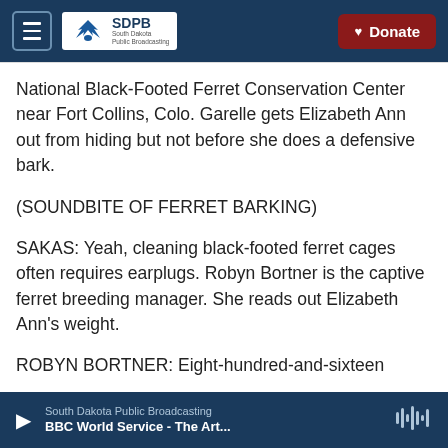SDPB South Dakota Public Broadcasting | Donate
National Black-Footed Ferret Conservation Center near Fort Collins, Colo. Garelle gets Elizabeth Ann out from hiding but not before she does a defensive bark.
(SOUNDBITE OF FERRET BARKING)
SAKAS: Yeah, cleaning black-footed ferret cages often requires earplugs. Robyn Bortner is the captive ferret breeding manager. She reads out Elizabeth Ann's weight.
ROBYN BORTNER: Eight-hundred-and-sixteen
South Dakota Public Broadcasting | BBC World Service - The Art...